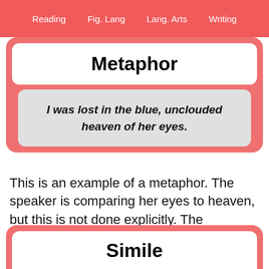Reading    Fig. Lang    Lang. Arts    Writing
Metaphor
I was lost in the blue, unclouded heaven of her eyes.
This is an example of a metaphor. The speaker is comparing her eyes to heaven, but this is not done explicitly. The comparison is implied. Here is the same example but turned into a simile.
Simile